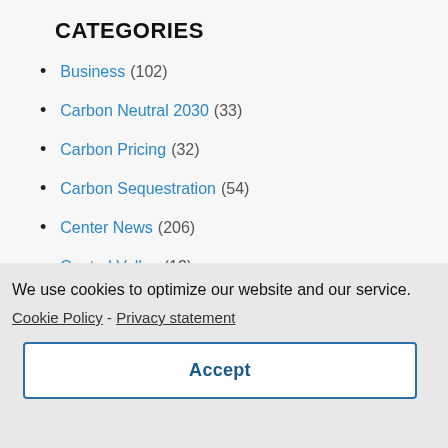CATEGORIES
Business (102)
Carbon Neutral 2030 (33)
Carbon Pricing (32)
Carbon Sequestration (54)
Center News (206)
Central Valley (13)
Climate Communication (100)
We use cookies to optimize our website and our service.
Cookie Policy - Privacy statement
Accept